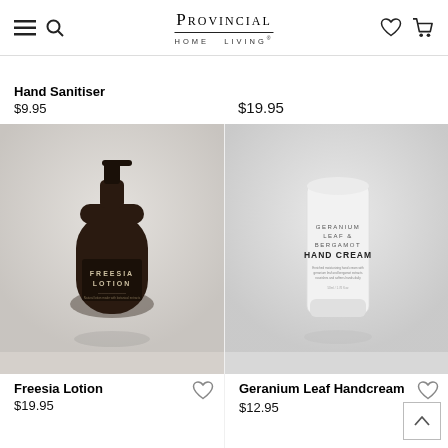PROVINCIAL HOME LIVING®
Hand Sanitiser
$9.95
$19.95
[Figure (photo): Dark amber glass pump bottle labeled FREESIA LOTION on a white/marble surface]
Freesia Lotion
$19.95
[Figure (photo): White tube labeled GERANIUM LEAF & BERGAMOT HAND CREAM on a marble surface]
Geranium Leaf Handcream
$12.95